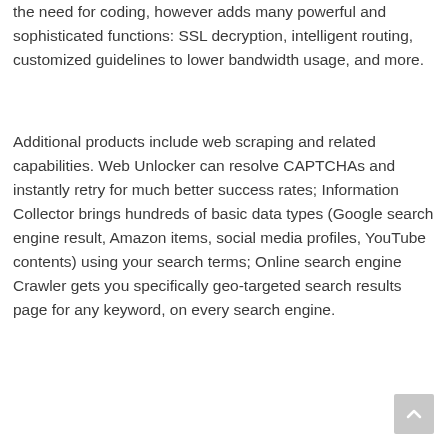the need for coding, however adds many powerful and sophisticated functions: SSL decryption, intelligent routing, customized guidelines to lower bandwidth usage, and more.
Additional products include web scraping and related capabilities. Web Unlocker can resolve CAPTCHAs and instantly retry for much better success rates; Information Collector brings hundreds of basic data types (Google search engine result, Amazon items, social media profiles, YouTube contents) using your search terms; Online search engine Crawler gets you specifically geo-targeted search results page for any keyword, on every search engine.